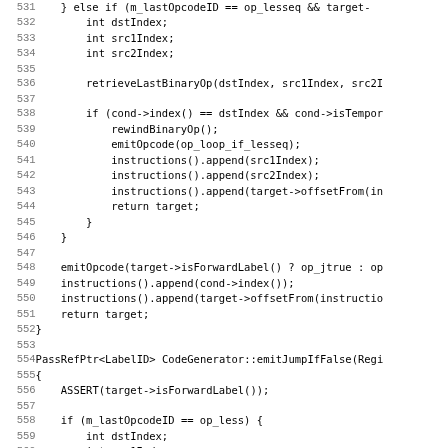[Figure (screenshot): Source code listing showing C++ code lines 531-563, featuring a code generator with binary operation handling, jump opcodes, and label ID emission functions.]